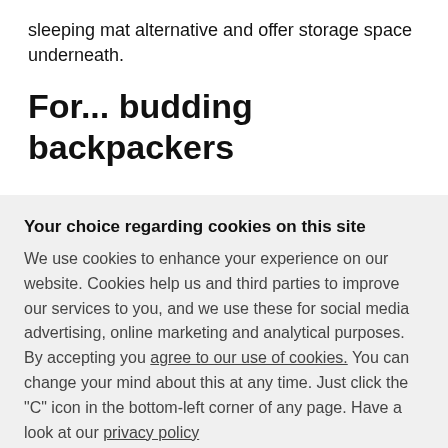sleeping mat alternative and offer storage space underneath.
For... budding backpackers
Your choice regarding cookies on this site
We use cookies to enhance your experience on our website. Cookies help us and third parties to improve our services to you, and we use these for social media advertising, online marketing and analytical purposes. By accepting you agree to our use of cookies. You can change your mind about this at any time. Just click the "C" icon in the bottom-left corner of any page. Have a look at our privacy policy
Accept all cookies | Cookie Preferences | ×